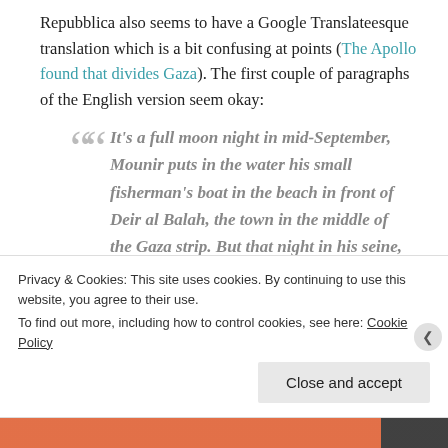Repubblica also seems to have a Google Translateesque translation which is a bit confusing at points (The Apollo found that divides Gaza). The first couple of paragraphs of the English version seem okay:
It's a full moon night in mid-September, Mounir puts in the water his small fisherman's boat in the beach in front of Deir al Balah, the town in the middle of the Gaza strip. But that night in his seine, a fishing net a couple of hundred meters long,
Privacy & Cookies: This site uses cookies. By continuing to use this website, you agree to their use. To find out more, including how to control cookies, see here: Cookie Policy
Close and accept